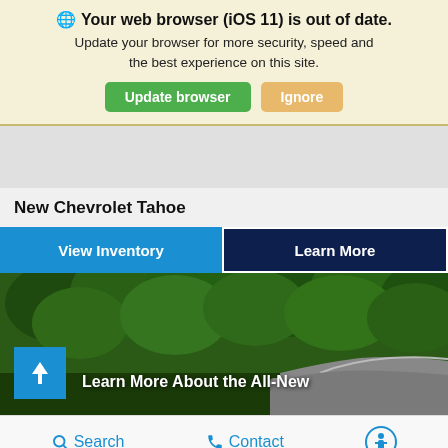🌐 Your web browser (iOS 11) is out of date. Update your browser for more security, speed and the best experience on this site. [Update browser] [Ignore]
New Chevrolet Tahoe
View Inventory
Learn More
[Figure (photo): Outdoor photo of a Chevrolet Tahoe SUV in a green tree-lined setting with a blue scroll-up button and text overlay 'Learn More About the All-New']
Search   Contact   [Accessibility icon]